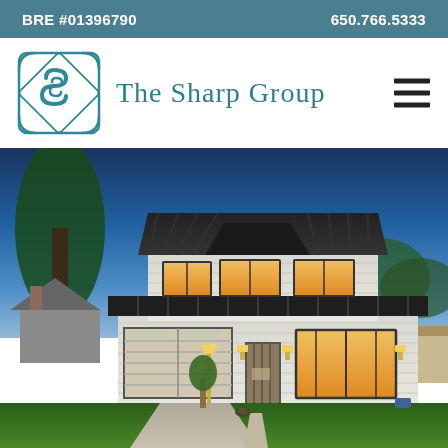BRE #01396790   650.766.5333
[Figure (logo): The Sharp Group logo with teal interlocking S letters in a decorative square frame, accompanied by the text 'The Sharp Group' in teal serif font, and a hamburger menu icon on the right]
[Figure (photo): Exterior twilight photo of a modern two-story white farmhouse-style home with dark metal roof, illuminated windows glowing warm orange, large garage door, front door with vertical wood slats, manicured lawn, and trees in background under a blue dusk sky]